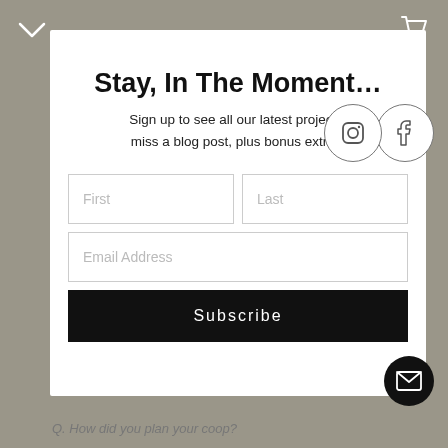[Figure (screenshot): Website header bar with chevron and cart icons on gray background]
Stay, In The Moment…
Sign up to see all our latest projects, miss a blog post, plus bonus extras!
[Figure (illustration): Instagram and Facebook social media circular icon buttons]
[Figure (infographic): Newsletter signup form with First, Last, Email Address fields and Subscribe button]
[Figure (illustration): Mail envelope FAB button in bottom right]
Q. How did you plan your coop?